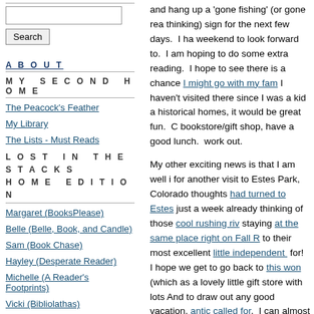and hang up a 'gone fishing' (or gone reading/thinking) sign for the next few days. I ha weekend to look forward to. I am hoping to do some extra reading. I hope to see there is a chance I might go with my fam I haven't visited there since I was a kid a historical homes, it would be great fun. bookstore/gift shop, have a good lunch. work out.
My other exciting news is that I am well i for another visit to Estes Park, Colorado thoughts had turned to Estes just a week already thinking of those cool rushing riv staying at the same place right on Fall R to their most excellent little independent for! I hope we get to go back to this won (which as a lovely little gift store with lots And to draw out any good vacation, antic called for. I can almost guarantee that a come home with me (to draw the enjoym Anyway, it is always a good thing to have change of scenery to look forward to).
ABOUT
MY SECOND HOME
The Peacock's Feather
My Library
The Lists - Must Reads
LOST IN THE STACKS HOME EDITION
Margaret (BooksPlease)
Belle (Belle, Book, and Candle)
Sam (Book Chase)
Hayley (Desperate Reader)
Michelle (A Reader's Footprints)
Vicki (Bibliolathas)
Lyn (I Prefer Reading)